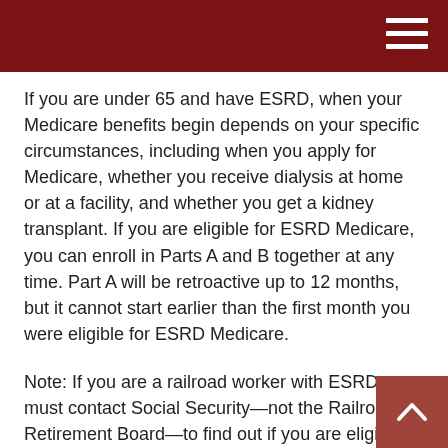If you are under 65 and have ESRD, when your Medicare benefits begin depends on your specific circumstances, including when you apply for Medicare, whether you receive dialysis at home or at a facility, and whether you get a kidney transplant. If you are eligible for ESRD Medicare, you can enroll in Parts A and B together at any time. Part A will be retroactive up to 12 months, but it cannot start earlier than the first month you were eligible for ESRD Medicare.
Note: If you are a railroad worker with ESRD, you must contact Social Security—not the Railroad Retirement Board—to find out if you are eligible for Medicare.
Because Social Security and Medicare eligibility rules are complex, it is recommended that you call Social Security at 800-772-1213 to get the most accurate information